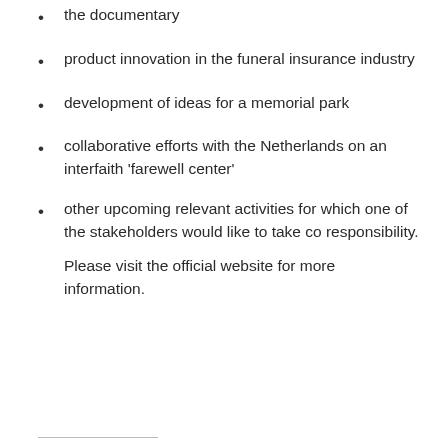the documentary
product innovation in the funeral insurance industry
development of ideas for a memorial park
collaborative efforts with the Netherlands on an interfaith ‘farewell center’
other upcoming relevant activities for which one of the stakeholders would like to take co responsibility.
Please visit the official website for more information.